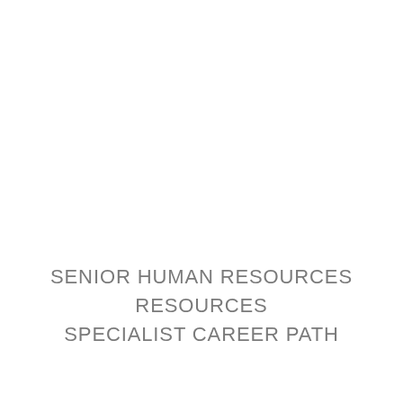SENIOR HUMAN RESOURCES SPECIALIST CAREER PATH